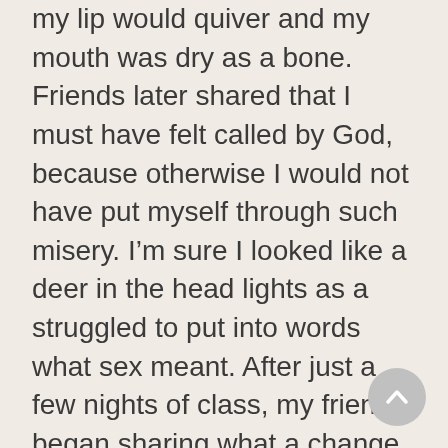my lip would quiver and my mouth was dry as a bone. Friends later shared that I must have felt called by God, because otherwise I would not have put myself through such misery. I'm sure I looked like a deer in the head lights as a struggled to put into words what sex meant. After just a few nights of class, my friends began sharing what a change they had experienced in their marriage and how much closer they felt to their husband. But in the middle of the night, I was plagued by thoughts of failure and insecurities, “Who was I to talk about sex? What if I misdirected them? Did any of this really make a difference?” My husband was my rock, he reassured me, he held me, and he comforted me through sex. I made a few changes to the curriculum – adding Song of Songs and some mixer questions to get the women talking, and then I ran